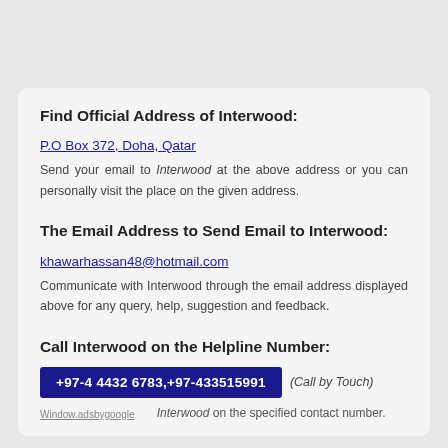Find Official Address of Interwood:
P.O Box 372, Doha, Qatar
Send your email to Interwood at the above address or you can personally visit the place on the given address.
The Email Address to Send Email to Interwood:
khawarhassan48@hotmail.com
Communicate with Interwood through the email address displayed above for any query, help, suggestion and feedback.
Call Interwood on the Helpline Number:
+97-4 4432 6783,+97-433515991 (Call by Touch)
Window.adsbygoogle — Interwood on the specified contact number.